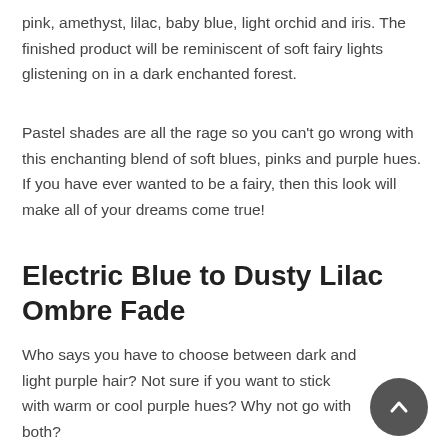pink, amethyst, lilac, baby blue, light orchid and iris. The finished product will be reminiscent of soft fairy lights glistening on in a dark enchanted forest.
Pastel shades are all the rage so you can't go wrong with this enchanting blend of soft blues, pinks and purple hues. If you have ever wanted to be a fairy, then this look will make all of your dreams come true!
Electric Blue to Dusty Lilac Ombre Fade
Who says you have to choose between dark and light purple hair? Not sure if you want to stick with warm or cool purple hues? Why not go with both?